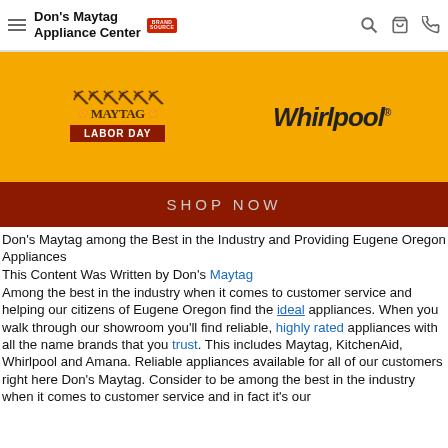Don's Maytag Appliance Center
[Figure (infographic): Orange banner with Maytag Labor Day logo and Whirlpool logo, followed by dark red SHOP NOW button]
Don's Maytag among the Best in the Industry and Providing Eugene Oregon Appliances
This Content Was Written by Don's Maytag
Among the best in the industry when it comes to customer service and helping our citizens of Eugene Oregon find the ideal appliances. When you walk through our showroom you'll find reliable, highly rated appliances with all the name brands that you trust. This includes Maytag, KitchenAid, Whirlpool and Amana. Reliable appliances available for all of our customers right here Don's Maytag. Consider to be among the best in the industry when it comes to customer service and in fact it's our